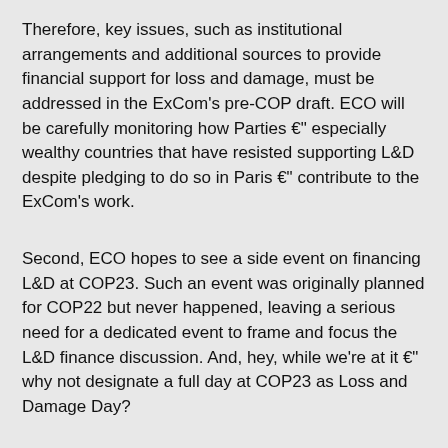Therefore, key issues, such as institutional arrangements and additional sources to provide financial support for loss and damage, must be addressed in the ExCom's pre-COP draft. ECO will be carefully monitoring how Parties €" especially wealthy countries that have resisted supporting L&D despite pledging to do so in Paris €" contribute to the ExCom's work.
Second, ECO hopes to see a side event on financing L&D at COP23. Such an event was originally planned for COP22 but never happened, leaving a serious need for a dedicated event to frame and focus the L&D finance discussion. And, hey, while we're at it €" why not designate a full day at COP23 as Loss and Damage Day?
Third, a decision providing the WIM ExCom itself with